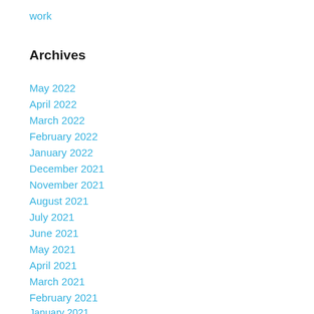work
Archives
May 2022
April 2022
March 2022
February 2022
January 2022
December 2021
November 2021
August 2021
July 2021
June 2021
May 2021
April 2021
March 2021
February 2021
January 2021
December 2020
November 2020